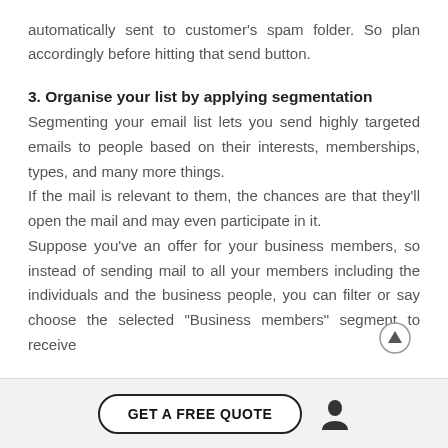automatically sent to customer's spam folder. So plan accordingly before hitting that send button.
3. Organise your list by applying segmentation
Segmenting your email list lets you send highly targeted emails to people based on their interests, memberships, types, and many more things. If the mail is relevant to them, the chances are that they'll open the mail and may even participate in it. Suppose you've an offer for your business members, so instead of sending mail to all your members including the individuals and the business people, you can filter or say choose the selected "Business members" segment to receive
GET A FREE QUOTE